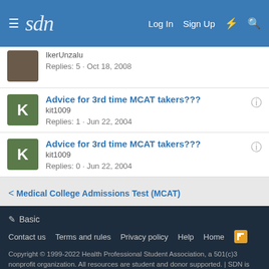sdn | Log In  Sign Up
IkerUnzalu
Replies: 5 · Oct 18, 2008
Advice for 3rd time MCAT takers???
kit1009
Replies: 1 · Jun 22, 2004
Advice for 3rd time MCAT takers???
kit1009
Replies: 0 · Jun 22, 2004
< Medical College Admissions Test (MCAT)
✏ Basic
Contact us  Terms and rules  Privacy policy  Help  Home
Copyright © 1999-2022 Health Professional Student Association, a 501(c)3 nonprofit organization. All resources are student and donor supported. | SDN is HON Certified